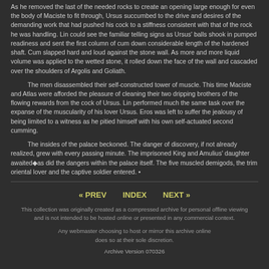As he removed the last of the needed rocks to create an opening large enough for even the body of Maciste to fit through, Ursus succumbed to the drive and desires of the demanding work that had pushed his cock to a stiffness consistent with that of the rock he was handling. Lin could see the familiar telling signs as Ursus' balls shook in pumped readiness and sent the first column of cum down considerable length of the hardened shaft. Cum slapped hard and loud against the stone wall. As more and more liquid volume was applied to the wetted stone, it rolled down the face of the wall and cascaded over the shoulders of Argolis and Goliath.
The men disassembled their self-constructed tower of muscle. This time Maciste and Atlas were afforded the pleasure of cleaning their two dripping brothers of the flowing rewards from the cock of Ursus. Lin performed much the same task over the expanse of the muscularity of his lover Ursus. Eros was left to suffer the jealousy of being limited to a witness as he pitied himself with his own self-actuated second cumming.
The insides of the palace beckoned. The danger of discovery, if not already realized, grew with every passing minute. The imprisoned King and Amulius' daughter awaited◆as did the dangers within the palace itself. The five muscled demigods, the trim oriental lover and the captive soldier entered. •
« PREV   INDEX   NEXT »
This collection was originally created as a compressed archive for personal offline viewing and is not intended to be hosted online or presented in any commercial context.
Any webmaster choosing to host or mirror this archive online does so at their sole discretion.
Archive Version 070326